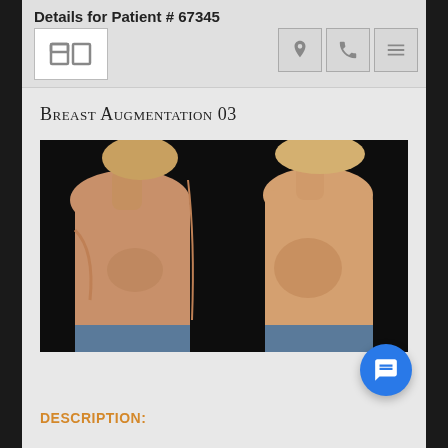Details for Patient # 67345
Breast Augmentation 03
[Figure (photo): Before and after side-profile photos of a breast augmentation procedure for Patient #67345, shown against a dark background with a chat popup overlay reading: 'Hi there, have a question? Text us here.' with a female avatar and a close button.]
DESCRIPTION: